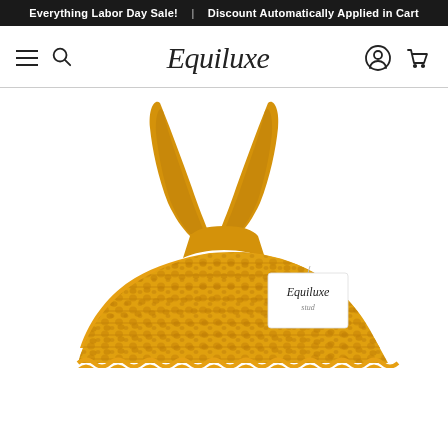Everything Labor Day Sale! | Discount Automatically Applied in Cart
[Figure (logo): Equiluxe brand logo in italic serif script]
[Figure (photo): A golden yellow equestrian fly bonnet/ear net for horses, made of crochet mesh with solid fabric ear covers. The item has an Equiluxe brand tag attached. Photographed on white background.]